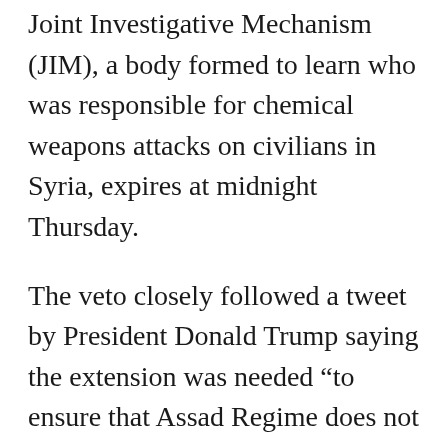Joint Investigative Mechanism (JIM), a body formed to learn who was responsible for chemical weapons attacks on civilians in Syria, expires at midnight Thursday.
The veto closely followed a tweet by President Donald Trump saying the extension was needed “to ensure that Assad Regime does not commit mass murder with chemical weapons ever again.”
After the vote, Nikki Haley, the US